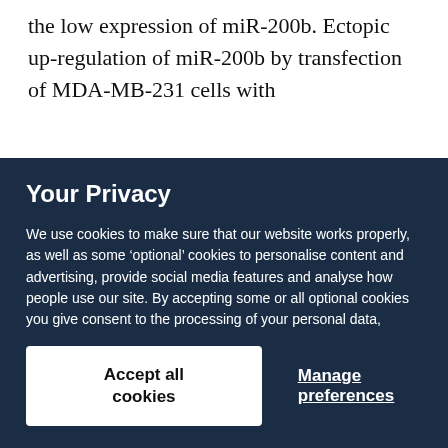the low expression of miR-200b. Ectopic up-regulation of miR-200b by transfection of MDA-MB-231 cells with
Your Privacy
We use cookies to make sure that our website works properly, as well as some ‘optional’ cookies to personalise content and advertising, provide social media features and analyse how people use our site. By accepting some or all optional cookies you give consent to the processing of your personal data, including transfer to third parties, some in countries outside of the European Economic Area that do not offer the same data protection standards as the country where you live. You can decide which optional cookies to accept by clicking on ‘Manage Settings’, where you can also find more information about how your personal data is processed. Further information can be found in our privacy policy.
Accept all cookies
Manage preferences